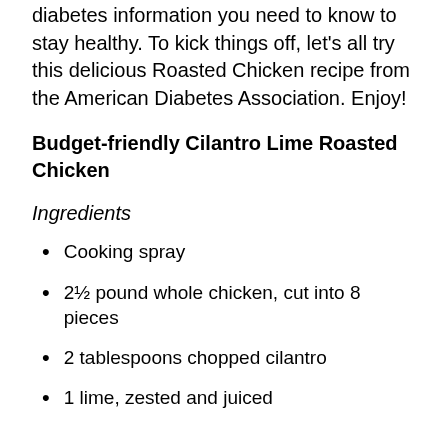diabetes information you need to know to stay healthy. To kick things off, let's all try this delicious Roasted Chicken recipe from the American Diabetes Association. Enjoy!
Budget-friendly Cilantro Lime Roasted Chicken
Ingredients
Cooking spray
2½ pound whole chicken, cut into 8 pieces
2 tablespoons chopped cilantro
1 lime, zested and juiced